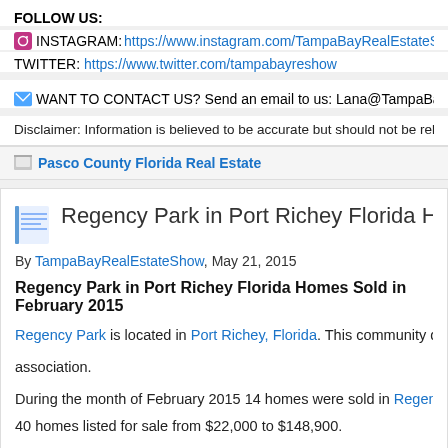FOLLOW US:
INSTAGRAM: https://www.instagram.com/TampaBayRealEstateShow
TWITTER: https://www.twitter.com/tampabayreshow
WANT TO CONTACT US? Send an email to us: Lana@TampaBayRealE
Disclaimer: Information is believed to be accurate but should not be relied u
Pasco County Florida Real Estate
Regency Park in Port Richey Florida Homes Sold
By TampaBayRealEstateShow, May 21, 2015
Regency Park in Port Richey Florida Homes Sold in February 2015
Regency Park is located in Port Richey, Florida. This community does not have a homeowners association.
During the month of February 2015 14 homes were sold in Regency Park in... 40 homes listed for sale from $22,000 to $148,900.
[Figure (screenshot): Video thumbnail showing Regency Park in Port Richey Florida with presenter avatar]